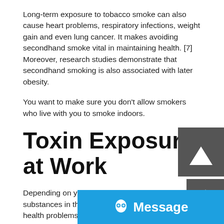Long-term exposure to tobacco smoke can also cause heart problems, respiratory infections, weight gain and even lung cancer. It makes avoiding secondhand smoke vital in maintaining health. [7] Moreover, research studies demonstrate that secondhand smoking is also associated with later obesity.
You want to make sure you don't allow smokers who live with you to smoke indoors.
Toxin Exposure at Work
Depending on your job, there may be harmful substances in the environment that cause many health problems. It is especially true for jobs like construction workers, hairdressers, and those working in beauty salons, and even for people working long hours in closed office environments.
If you work with or around hazardous substances like chemical-based hair or beauty products or toxic building materials, you need to make sure that every proper safety measure is carried